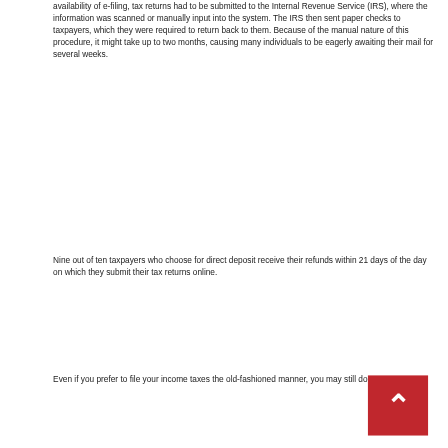availability of e-filing, tax returns had to be submitted to the Internal Revenue Service (IRS), where the information was scanned or manually input into the system. The IRS then sent paper checks to taxpayers, which they were required to return back to them. Because of the manual nature of this procedure, it might take up to two months, causing many individuals to be eagerly awaiting their mail for several weeks.
Nine out of ten taxpayers who choose for direct deposit receive their refunds within 21 days of the day on which they submit their tax returns online.
Even if you prefer to file your income taxes the old-fashioned manner, you may still do